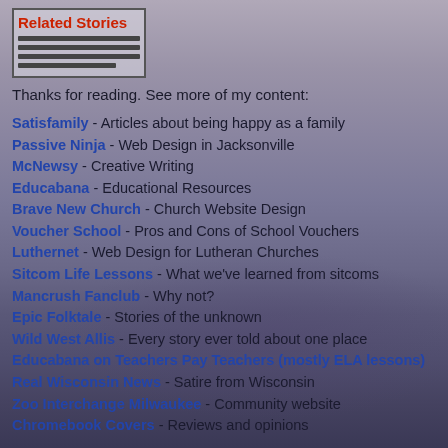[Figure (photo): City skyline at night with purple/grey tinted background and tall buildings visible]
Related Stories
Thanks for reading. See more of my content:
Satisfamily - Articles about being happy as a family
Passive Ninja - Web Design in Jacksonville
McNewsy - Creative Writing
Educabana - Educational Resources
Brave New Church - Church Website Design
Voucher School - Pros and Cons of School Vouchers
Luthernet - Web Design for Lutheran Churches
Sitcom Life Lessons - What we've learned from sitcoms
Mancrush Fanclub - Why not?
Epic Folktale - Stories of the unknown
Wild West Allis - Every story ever told about one place
Educabana on Teachers Pay Teachers (mostly ELA lessons)
Real Wisconsin News - Satire from Wisconsin
Zoo Interchange Milwaukee - Community website
Chromebook Covers - Reviews and opinions